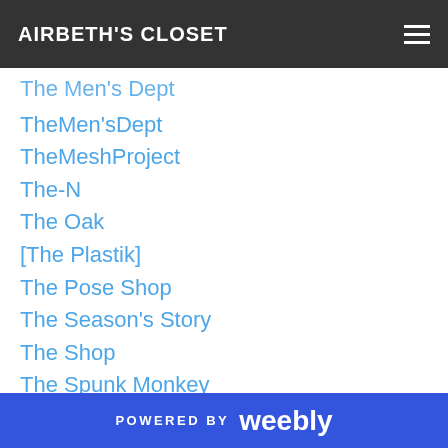AIRBETH'S CLOSET
The Men's Dept
TheMen'sDept
TheMeshProject
The-N
The Oak
[The Plastik]
The Pose Shop
The Season's Story
The Shop
The Spunk Monkey
The Summoning
The Xhale
.Things.
This Is Wrong
Thor
POWERED BY weebly